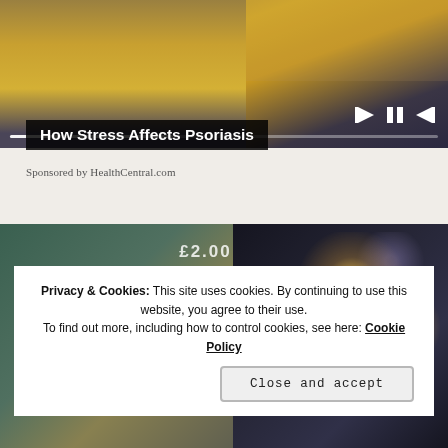[Figure (screenshot): Video player showing a person in a yellow sweater sitting on a couch, with playback controls (skip back, pause, skip forward) and a progress bar at the bottom]
How Stress Affects Psoriasis
Sponsored by HealthCentral.com
[Figure (photo): Split image: left side shows a shopping cart and price tag in a store, right side shows a blurred bokeh storefront at night]
Privacy & Cookies: This site uses cookies. By continuing to use this website, you agree to their use.
To find out more, including how to control cookies, see here: Cookie Policy
Close and accept